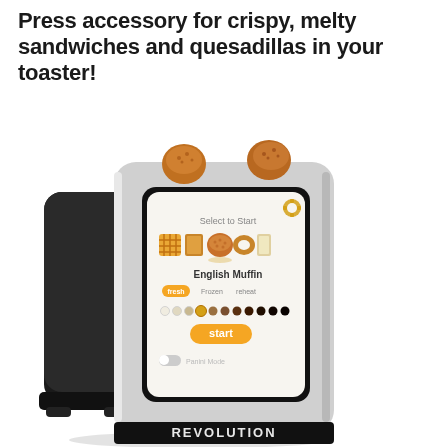Press accessory for crispy, melty sandwiches and quesadillas in your toaster!
[Figure (photo): A modern smart toaster branded 'REVOLUTION' with a touchscreen display showing food selection UI (English Muffin selected, fresh/frozen/reheat options, shade dial, start button, Panini Mode toggle). Two English muffins are visible sticking out of the top slots.]